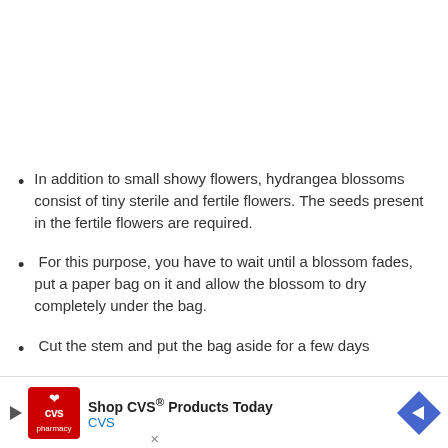In addition to small showy flowers, hydrangea blossoms consist of tiny sterile and fertile flowers. The seeds present in the fertile flowers are required.
For this purpose, you have to wait until a blossom fades, put a paper bag on it and allow the blossom to dry completely under the bag.
Cut the stem and put the bag aside for a few days
[Figure (other): Advertisement banner for CVS pharmacy: Shop CVS® Products Today, with CVS logo and navigation arrow icon]